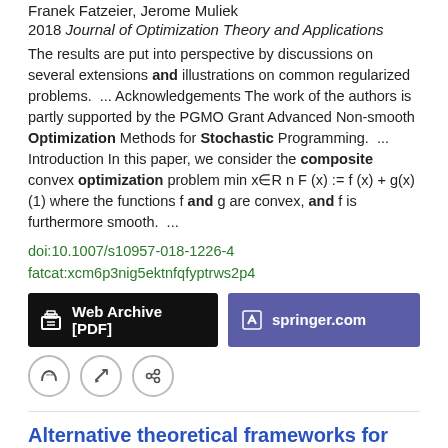Franek Fatzeier, Jerome Muliek
2018 Journal of Optimization Theory and Applications
The results are put into perspective by discussions on several extensions and illustrations on common regularized problems.  ...  Acknowledgements The work of the authors is partly supported by the PGMO Grant Advanced Non-smooth Optimization Methods for Stochastic Programming.  ...  Introduction In this paper, we consider the composite convex optimization problem min x∈R n F (x) := f (x) + g(x) (1) where the functions f and g are convex, and f is furthermore smooth.  ...
doi:10.1007/s10957-018-1226-4
fatcat:xcm6p3nig5ektnfqfyptrws2p4
Web Archive [PDF]
springer.com
Alternative theoretical frameworks for finite horizon discrete-time stochastic optimal control
Steven E. Shreve, Dimitri P. Bertsekas
1977 1977 IEEE Conference on Decision and Control including the 16th Symposium on Adaptive Processes and A Special Symposium on Fuzzy Set